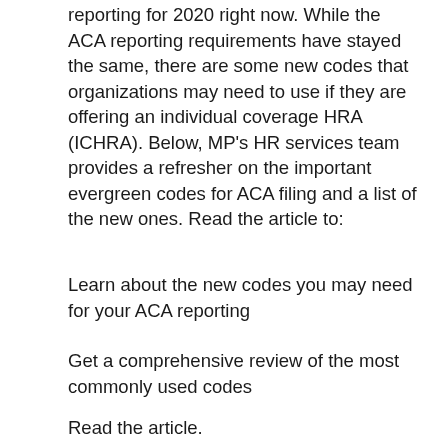reporting for 2020 right now. While the ACA reporting requirements have stayed the same, there are some new codes that organizations may need to use if they are offering an individual coverage HRA (ICHRA). Below, MP's HR services team provides a refresher on the important evergreen codes for ACA filing and a list of the new ones. Read the article to:
Learn about the new codes you may need for your ACA reporting
Get a comprehensive review of the most commonly used codes
Read the article.